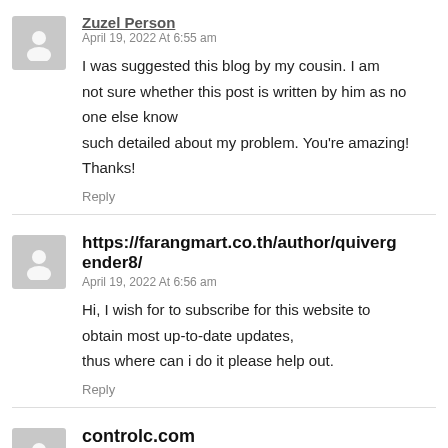[Author name truncated] April 19, 2022 At 6:55 am
I was suggested this blog by my cousin. I am not sure whether this post is written by him as no one else know such detailed about my problem. You're amazing! Thanks!
Reply
https://farangmart.co.th/author/quivergender8/ April 19, 2022 At 6:56 am
Hi, I wish for to subscribe for this website to obtain most up-to-date updates, thus where can i do it please help out.
Reply
controlc.com April 19, 2022 At 7:01 am